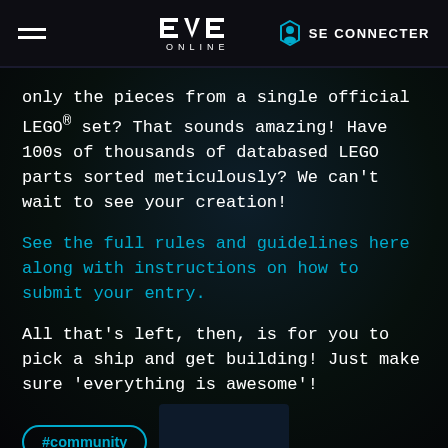EVE Online — SE CONNECTER
only the pieces from a single official LEGO® set? That sounds amazing! Have 100s of thousands of databased LEGO parts sorted meticulously? We can't wait to see your creation!
See the full rules and guidelines here along with instructions on how to submit your entry.
All that's left, then, is for you to pick a ship and get building! Just make sure 'everything is awesome'!
#community